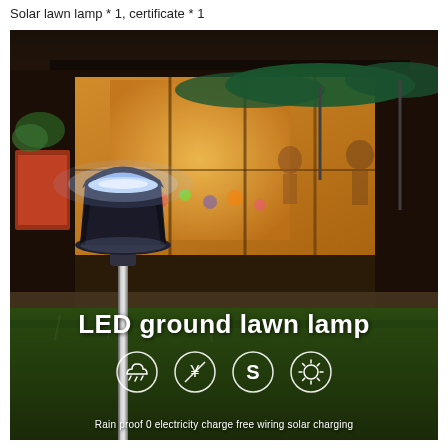Solar lawn lamp * 1, certificate * 1
[Figure (photo): Nighttime outdoor photo of a solar LED lawn lamp post standing in grass in front of a warmly lit restaurant/cafe. Background shows green patio umbrellas, large windows, and people inside. The lamp emits a bright white LED glow from its mushroom-shaped head. Overlaid text reads 'LED ground lawn lamp' and four circular icons at the bottom represent: rain proof, 0 electricity charge, free wiring, solar charging.]
Rain proof 0 electricity charge free wiring solar charging